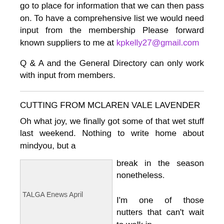go to place for information that we can then pass on. To have a comprehensive list we would need input from the membership Please forward known suppliers to me at kpkelly27@gmail.com
Q & A and the General Directory can only work with input from members.
CUTTING FROM MCLAREN VALE LAVENDER
Oh what joy, we finally got some of that wet stuff last weekend. Nothing to write home about mindyou, but a break in the season nonetheless. I'm one of those nutters that can't wait to walk in
[Figure (photo): TALGA Enews April - image placeholder]